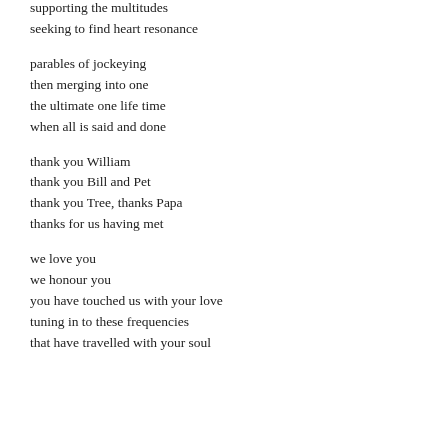supporting the multitudes
seeking to find heart resonance

parables of jockeying
then merging into one
the ultimate one life time
when all is said and done

thank you William
thank you Bill and Pet
thank you Tree, thanks Papa
thanks for us having met

we love you
we honour you
you have touched us with your love
tuning in to these frequencies
that have travelled with your soul